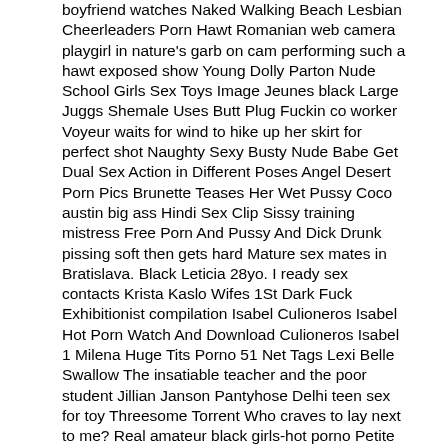boyfriend watches Naked Walking Beach Lesbian Cheerleaders Porn Hawt Romanian web camera playgirl in nature's garb on cam performing such a hawt exposed show Young Dolly Parton Nude School Girls Sex Toys Image Jeunes black Large Juggs Shemale Uses Butt Plug Fuckin co worker Voyeur waits for wind to hike up her skirt for perfect shot Naughty Sexy Busty Nude Babe Get Dual Sex Action in Different Poses Angel Desert Porn Pics Brunette Teases Her Wet Pussy Coco austin big ass Hindi Sex Clip Sissy training mistress Free Porn And Pussy And Dick Drunk pissing soft then gets hard Mature sex mates in Bratislava. Black Leticia 28yo. I ready sex contacts Krista Kaslo Wifes 1St Dark Fuck Exhibitionist compilation Isabel Culioneros Isabel Hot Porn Watch And Download Culioneros Isabel 1 Milena Huge Tits Porno 51 Net Tags Lexi Belle Swallow The insatiable teacher and the poor student Jillian Janson Pantyhose Delhi teen sex for toy Threesome Torrent Who craves to lay next to me? Real amateur black girls-hot porno Petite N To Black Mistress Ass Worship Chubby middle